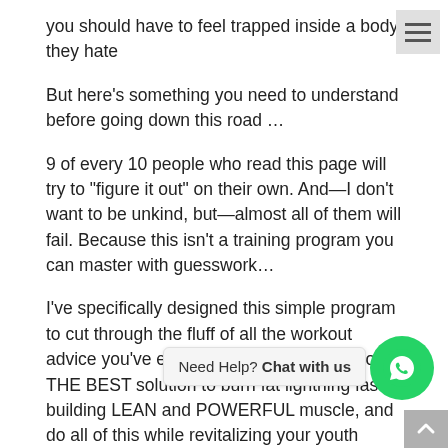you should have to feel trapped inside a body they hate
But here's something you need to understand before going down this road …
9 of every 10 people who read this page will try to “figure it out” on their own. And—I don’t want to be unkind, but—almost all of them will fail. Because this isn’t a training program you can master with guesswork…
I’ve specifically designed this simple program to cut through the fluff of all the workout advice you’ve ever been given and give you THE BEST solution to burn fat lightning fast, building LEAN and POWERFUL muscle, and do all of this while revitalizing your youth hormones so that you look and feel you
Sure, some workouts may help you burn fat. Others may